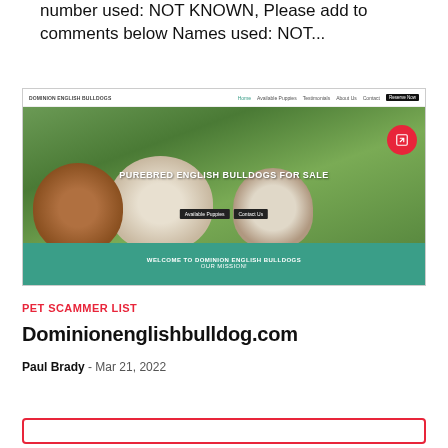number used: NOT KNOWN, Please add to comments below Names used: NOT...
[Figure (screenshot): Screenshot of Dominion English Bulldogs website showing a hero image of English Bulldog puppies on grass with headline 'PUREBRED ENGLISH BULLDOGS FOR SALE', navigation bar at top, and teal/green welcome section at bottom reading 'WELCOME TO DOMINION ENGLISH BULLDOGS OUR MISSION!']
PET SCAMMER LIST
Dominionenglishbulldog.com
Paul Brady - Mar 21, 2022